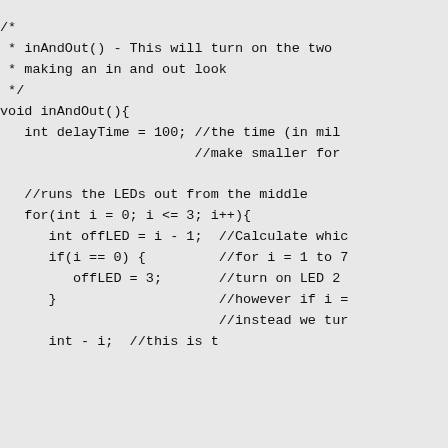/*
 * inAndOut() - This will turn on the two
 * making an in and out look
 */
void inAndOut(){
    int delayTime = 100; //the time (in mil
                         //make smaller for

    //runs the LEDs out from the middle
    for(int i = 0; i <= 3; i++){
        int offLED = i - 1;  //Calculate whic
        if(i == 0) {         //for i = 1 to 7
            offLED = 3;      //turn on LED 2
        }                    //however if i =
                             //instead we tur
        int onLED1 = 3 - i;  //this is t